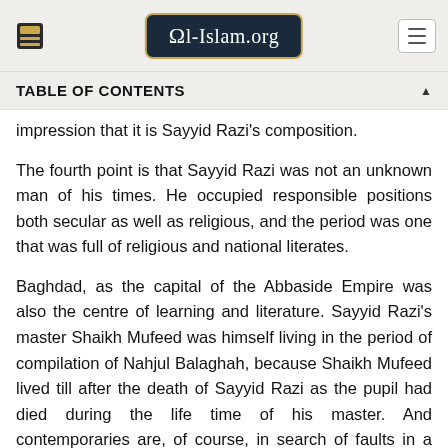Al-Islam.org
TABLE OF CONTENTS
impression that it is Sayyid Razi's composition.
The fourth point is that Sayyid Razi was not an unknown man of his times. He occupied responsible positions both secular as well as religious, and the period was one that was full of religious and national literates.
Baghdad, as the capital of the Abbaside Empire was also the centre of learning and literature. Sayyid Razi's master Shaikh Mufeed was himself living in the period of compilation of Nahjul Balaghah, because Shaikh Mufeed lived till after the death of Sayyid Razi as the pupil had died during the life time of his master. And contemporaries are, of course, in search of faults in a man.